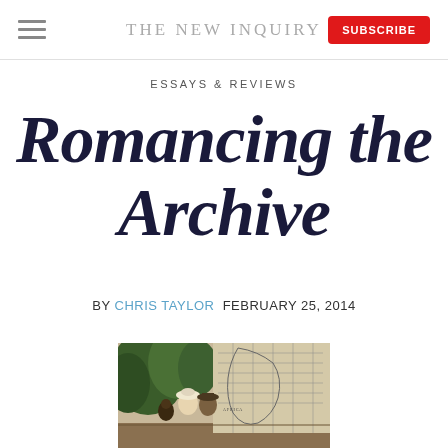THE NEW INQUIRY
ESSAYS & REVIEWS
Romancing the Archive
By CHRIS TAYLOR  FEBRUARY 25, 2014
[Figure (illustration): Historical painting showing colonial-era figures (a woman in a bonnet, a man in a hat) in front of a map of Africa/colonial territories, with trees in background]